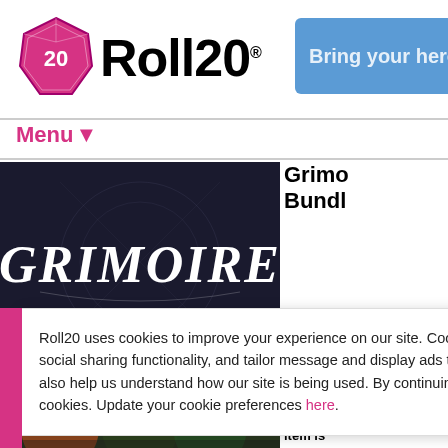[Figure (logo): Roll20 logo with pink 20-sided die and bold Roll20 text]
[Figure (illustration): Blue CTA banner with text 'Bring your hero t']
Menu▼
[Figure (illustration): Grimoire dark fantasy banner with large gothic 'GRIMOIRE' text on dark background]
Grimo Bundle
Roll20 uses cookies to improve your experience on our site. Cookies enable you to enjoy certain features, social sharing functionality, and tailor message and display ads to your interests on our site and others. They also help us understand how our site is being used. By continuing to use our site, you consent to our use of cookies. Update your cookie preferences here.
[Figure (illustration): Fantasy character art at bottom of page]
item is